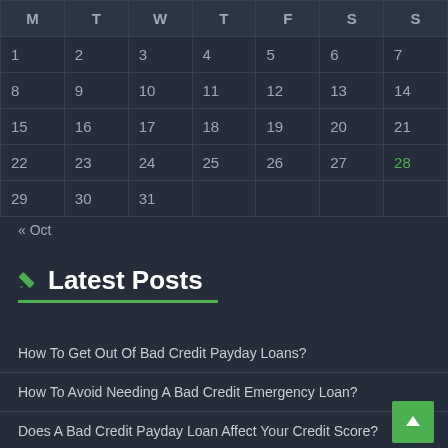| M | T | W | T | F | S | S |
| --- | --- | --- | --- | --- | --- | --- |
| 1 | 2 | 3 | 4 | 5 | 6 | 7 |
| 8 | 9 | 10 | 11 | 12 | 13 | 14 |
| 15 | 16 | 17 | 18 | 19 | 20 | 21 |
| 22 | 23 | 24 | 25 | 26 | 27 | 28 |
| 29 | 30 | 31 |  |  |  |  |
« Oct
Latest Posts
How To Get Out Of Bad Credit Payday Loans?
How To Avoid Needing A Bad Credit Emergency Loan?
Does A Bad Credit Payday Loan Affect Your Credit Score?
Same Day Payday Loans Online Direct Lenders
Benefits Of A Bad Credit Payday Loan